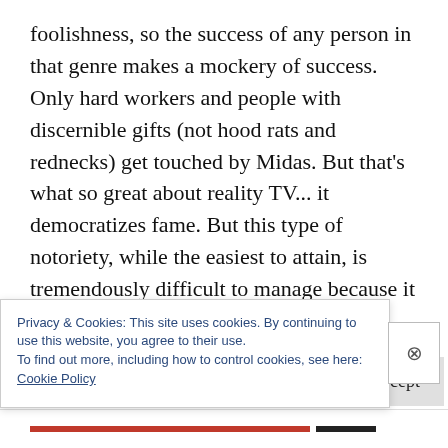foolishness, so the success of any person in that genre makes a mockery of success. Only hard workers and people with discernible gifts (not hood rats and rednecks) get touched by Midas. But that's what so great about reality TV... it democratizes fame. But this type of notoriety, while the easiest to attain, is tremendously difficult to manage because it requires YOU. When an actor or singer gets criticized, it's about what they do (or maybe what they wear), something separate from
Privacy & Cookies: This site uses cookies. By continuing to use this website, you agree to their use.
To find out more, including how to control cookies, see here: Cookie Policy
Close and accept